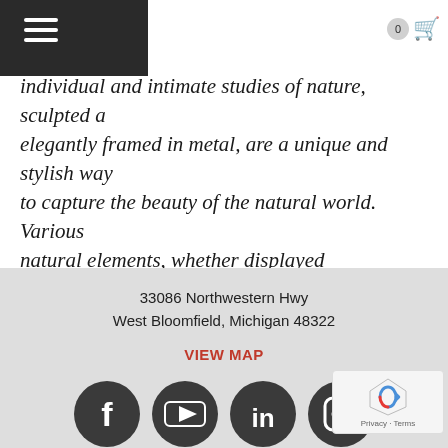individual and intimate studies of nature, sculpted and elegantly framed in metal, are a unique and stylish way to capture the beauty of the natural world. Various natural elements, whether displayed individually or in multiples, are a beautiful way to fill our home with these artfully cast depictions of natures artistry.
33086 Northwestern Hwy
West Bloomfield, Michigan 48322
VIEW MAP
248-539-0262
Contact
[Figure (illustration): Four dark gray social media icons in a row: Facebook, YouTube, LinkedIn, Instagram]